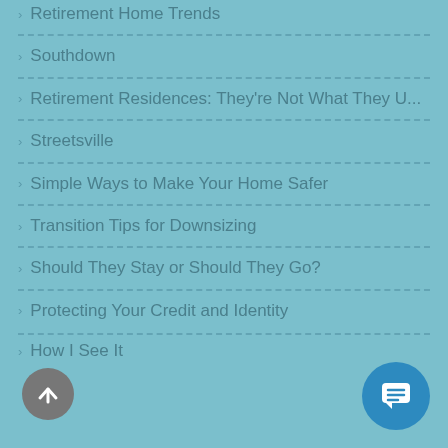› Retirement Home Trends
› Southdown
› Retirement Residences: They're Not What They U...
› Streetsville
› Simple Ways to Make Your Home Safer
› Transition Tips for Downsizing
› Should They Stay or Should They Go?
› Protecting Your Credit and Identity
› How I See It